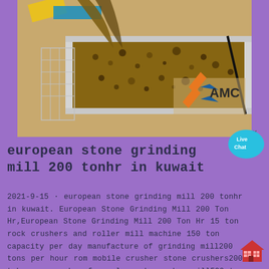[Figure (photo): Industrial stone crushing/grinding machine with conveyor belt moving crushed rock material. AMC logo visible on the equipment. Yellow machinery arm visible at top left.]
european stone grinding mill 200 tonhr in kuwait
2021-9-15 · european stone grinding mill 200 tonhr in kuwait. European Stone Grinding Mill 200 Ton Hr,European Stone Grinding Mill 200 Ton Hr 15 ton rock crushers and roller mill machine 150 ton capacity per day manufacture of grinding mill200 tons per hour rom mobile crusher stone crushers200 tph cone crusher for sale rock crusher mill500 ton per hr crushing equipment for …